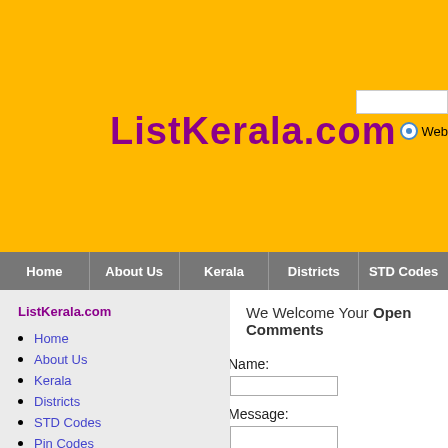ListKerala.com
Web
Home | About Us | Kerala | Districts | STD Codes
ListKerala.com
Home
About Us
Kerala
Districts
STD Codes
Pin Codes
Advertise
Enquiry
Contact Us
We Welcome Your Open Comments
Name:
Message:
04/16/16 11:25
Vicente: Please wait http://bestbuy... hydrochloride capsules 500mg
Ten of the 117 women referred fo... underwent subsequent surgeries. Of t...